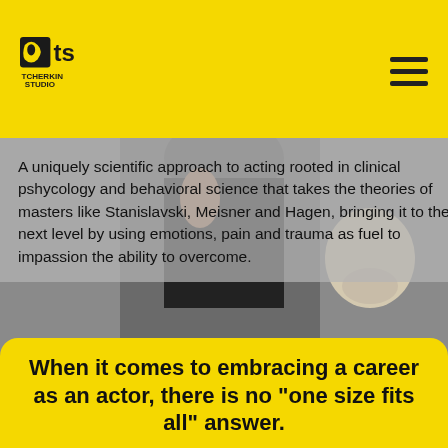[Figure (logo): Tcherkin Studio logo — stylized mask and 'ts' letters with text TCHERKIN STUDIO below]
[Figure (photo): Person in black outfit with a skull prop, photographed from chest up, partially visible]
A uniquely scientific approach to acting rooted in clinical pshycology and behavioral science that takes the theories of masters like Stanislavski, Meisner and Hagen, bringing it to the next level by using emotions, pain and trauma as fuel to impassion the ability to overcome.
When it comes to embracing a career as an actor, there is no "one size fits all" answer.
Take a moment to tell me a little bit about your situation and I'll be able to create a unique